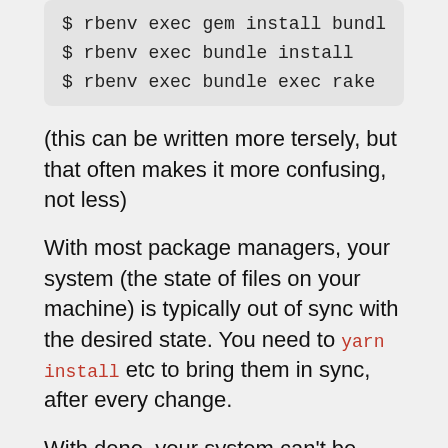[Figure (screenshot): Code block showing three terminal commands: $ rbenv exec gem install bundler, $ rbenv exec bundle install, $ rbenv exec bundle exec rake mytas (truncated)]
(this can be written more tersely, but that often makes it more confusing, not less)
With most package managers, your system (the state of files on your machine) is typically out of sync with the desired state. You need to yarn install etc to bring them in sync, after every change.
With deno, your system can't be inconsistent, it may just have some uncached imports.
anyone running a given module will use the exact same dependencies, regardless of the state of your